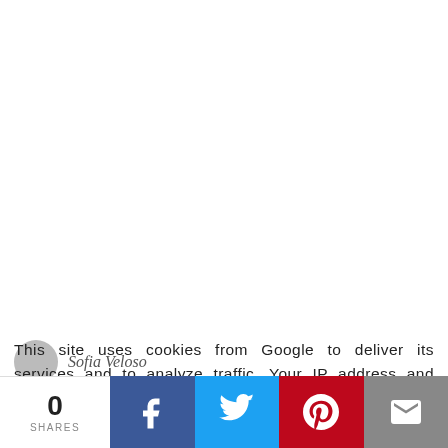[Figure (photo): White/blank area representing a blog post image at the top of the page]
Sofia Veloso
This site uses cookies from Google to deliver its services and to analyze traffic. Your IP address and user-agent are shared with Google along with performance and security metrics to ensure quality of service, generate usage statistics, and to detect and address abuse.
Oh que linda adorei o look
Beijinhos
CantinhoDaSofia /Facebook /Intagram
Tem post novos todos os dias
0 SHARES